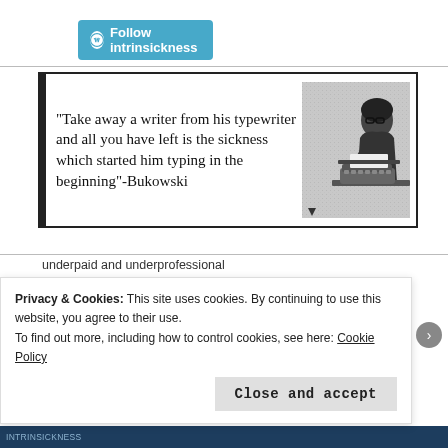[Figure (logo): WordPress Follow button with cyan/teal background reading 'Follow intrinsickness']
[Figure (illustration): Black and white image of a person typing at a typewriter with quote text: "Take away a writer from his typewriter and all you have left is the sickness which started him typing in the beginning"-Bukowski]
underpaid and underprofessional
[Figure (photo): Blue toned header image strip]
Privacy & Cookies: This site uses cookies. By continuing to use this website, you agree to their use.
To find out more, including how to control cookies, see here: Cookie Policy
Close and accept